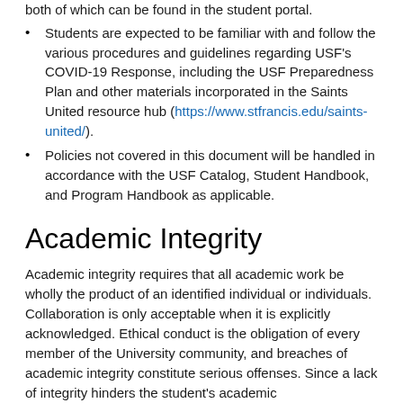both of which can be found in the student portal.
Students are expected to be familiar with and follow the various procedures and guidelines regarding USF's COVID-19 Response, including the USF Preparedness Plan and other materials incorporated in the Saints United resource hub (https://www.stfrancis.edu/saints-united/).
Policies not covered in this document will be handled in accordance with the USF Catalog, Student Handbook, and Program Handbook as applicable.
Academic Integrity
Academic integrity requires that all academic work be wholly the product of an identified individual or individuals. Collaboration is only acceptable when it is explicitly acknowledged. Ethical conduct is the obligation of every member of the University community, and breaches of academic integrity constitute serious offenses. Since a lack of integrity hinders the student's academic